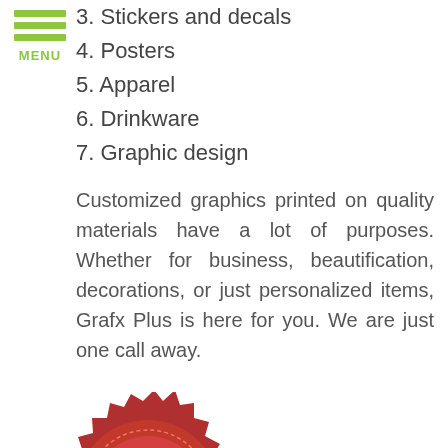[Figure (other): Green hamburger menu icon with three horizontal bars and MENU label]
3. Stickers and decals
4. Posters
5. Apparel
6. Drinkware
7. Graphic design
Customized graphics printed on quality materials have a lot of purposes. Whether for business, beautification, decorations, or just personalized items, Grafx Plus is here for you. We are just one call away.
[Figure (illustration): Red wax seal stamp with 'View Sign Gallery' text and 'CLICK HERE' gold banner, alongside cursive 'Quote Click Here' text in black and red, and handwritten 'Free' text, plus green phone and mail icon buttons]